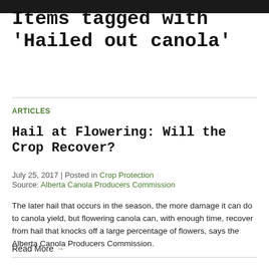Items tagged with 'Hailed out canola'
ARTICLES
Hail at Flowering: Will the Crop Recover?
July 25, 2017 | Posted in Crop Protection
Source: Alberta Canola Producers Commission
The later hail that occurs in the season, the more damage it can do to canola yield, but flowering canola can, with enough time, recover from hail that knocks off a large percentage of flowers, says the Alberta Canola Producers Commission.
Read More →